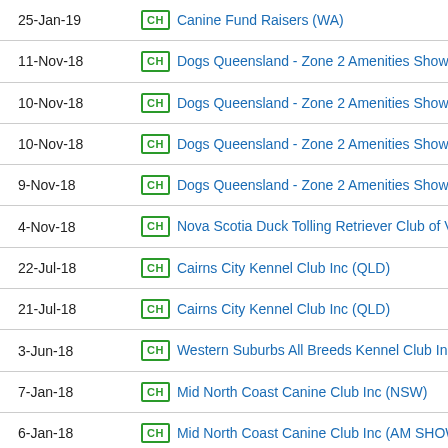| Date | Type | Event |
| --- | --- | --- |
| 25-Jan-19 | CH | Canine Fund Raisers (WA) |
| 11-Nov-18 | CH | Dogs Queensland - Zone 2 Amenities Show (QLD) |
| 10-Nov-18 | CH | Dogs Queensland - Zone 2 Amenities Show (AM Show) |
| 10-Nov-18 | CH | Dogs Queensland - Zone 2 Amenities Show (PM Show) |
| 9-Nov-18 | CH | Dogs Queensland - Zone 2 Amenities Show (QLD) |
| 4-Nov-18 | CH | Nova Scotia Duck Tolling Retriever Club of Victoria Inc |
| 22-Jul-18 | CH | Cairns City Kennel Club Inc (QLD) |
| 21-Jul-18 | CH | Cairns City Kennel Club Inc (QLD) |
| 3-Jun-18 | CH | Western Suburbs All Breeds Kennel Club Inc (VIC) |
| 7-Jan-18 | CH | Mid North Coast Canine Club Inc (NSW) |
| 6-Jan-18 | CH | Mid North Coast Canine Club Inc (AM SHOW) (NSW) |
| 6-Jan-18 | CH | Mid North Coast Canine Club Inc (PM SHOW) (NSW) |
| 15-Oct-17 | CH | Waterloo Bay Kennel Club (QLD) |